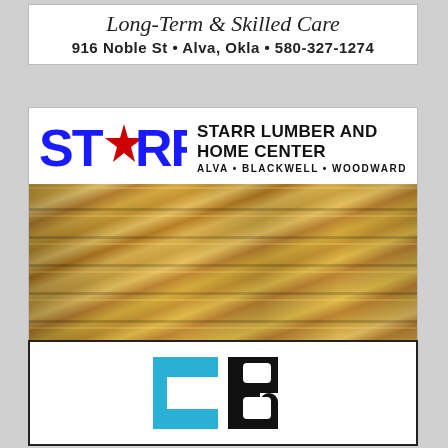[Figure (illustration): Advertisement for Long-Term & Skilled Care at 916 Noble St, Alva, Okla, 580-327-1274]
[Figure (illustration): Advertisement for Starr Lumber and Home Center with logo and photo of stacked lumber boards. Locations: Alva, Blackwell, Woodward]
[Figure (logo): Advertisement with CB logo in blue and black block letters]